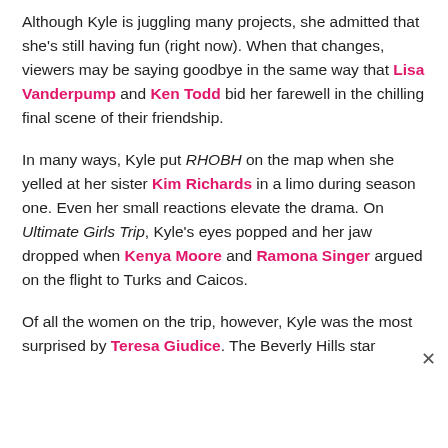Although Kyle is juggling many projects, she admitted that she's still having fun (right now). When that changes, viewers may be saying goodbye in the same way that Lisa Vanderpump and Ken Todd bid her farewell in the chilling final scene of their friendship.
In many ways, Kyle put RHOBH on the map when she yelled at her sister Kim Richards in a limo during season one. Even her small reactions elevate the drama. On Ultimate Girls Trip, Kyle's eyes popped and her jaw dropped when Kenya Moore and Ramona Singer argued on the flight to Turks and Caicos.
Of all the women on the trip, however, Kyle was the most surprised by Teresa Giudice. The Beverly Hills star